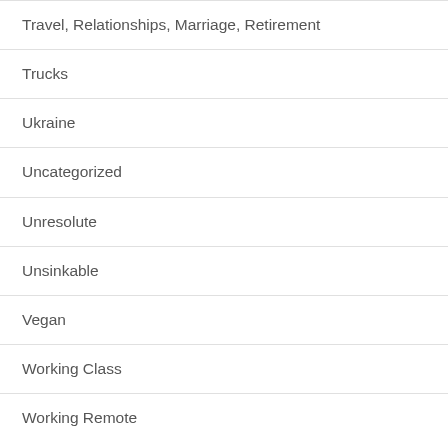Travel, Relationships, Marriage, Retirement
Trucks
Ukraine
Uncategorized
Unresolute
Unsinkable
Vegan
Working Class
Working Remote